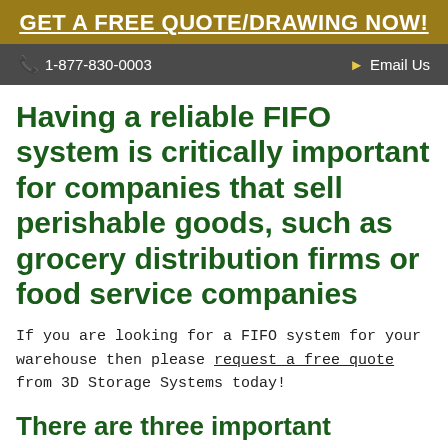GET A FREE QUOTE/DRAWING NOW!
📞 1-877-830-0003   ✈ Email Us
Having a reliable FIFO system is critically important for companies that sell perishable goods, such as grocery distribution firms or food service companies
If you are looking for a FIFO system for your warehouse then please request a free quote from 3D Storage Systems today!
There are three important